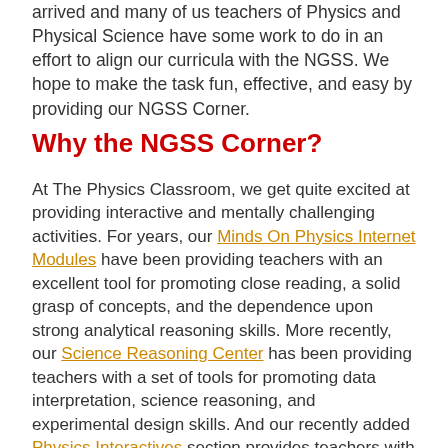arrived and many of us teachers of Physics and Physical Science have some work to do in an effort to align our curricula with the NGSS. We hope to make the task fun, effective, and easy by providing our NGSS Corner.
Why the NGSS Corner?
At The Physics Classroom, we get quite excited at providing interactive and mentally challenging activities. For years, our Minds On Physics Internet Modules have been providing teachers with an excellent tool for promoting close reading, a solid grasp of concepts, and the dependence upon strong analytical reasoning skills. More recently, our Science Reasoning Center has been providing teachers with a set of tools for promoting data interpretation, science reasoning, and experimental design skills. And our recently added Physics Interactives section provides teachers with an outstanding selection of simulations for fostering strong model-building and computational thinking skills. So when the Next Generation Science Standards were released, we